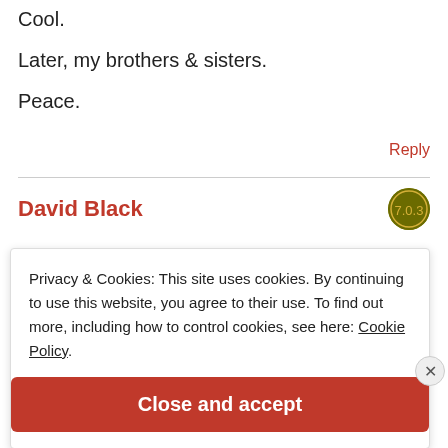Cool.
Later, my brothers & sisters.
Peace.
Reply
David Black
Privacy & Cookies: This site uses cookies. By continuing to use this website, you agree to their use. To find out more, including how to control cookies, see here: Cookie Policy
Close and accept